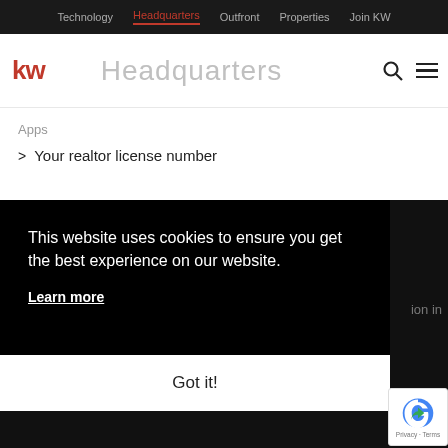Technology | Headquarters | Outfront | Properties | Join KW
Headquarters
Apps
> Your realtor license number
This website uses cookies to ensure you get the best experience on our website.
Learn more
Got it!